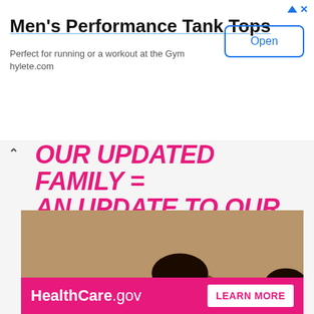Men's Performance Tank Tops
Perfect for running or a workout at the Gym
hylete.com
[Figure (other): Open button for ad]
[Figure (infographic): HealthCare.gov ad showing a family with a newborn baby. Pink bold text reads: OUR UPDATED FAMILY = AN UPDATE TO OUR HEALTH PLAN. Bottom pink bar shows HealthCare.gov logo and LEARN MORE button.]
HealthCare.gov
LEARN MORE